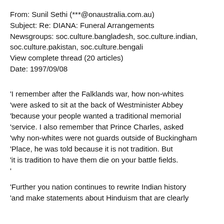From: Sunil Sethi (***@onaustralia.com.au)
Subject: Re: DIANA: Funeral Arrangements
Newsgroups: soc.culture.bangladesh, soc.culture.indian, soc.culture.pakistan, soc.culture.bengali
View complete thread (20 articles)
Date: 1997/09/08
'I remember after the Falklands war, how non-whites 'were asked to sit at the back of Westminister Abbey 'because your people wanted a traditional memorial 'service. I also remember that Prince Charles, asked 'why non-whites were not guards outside of Buckingham 'Place, he was told because it is not tradition. But 'it is tradition to have them die on your battle fields. '
'Further you nation continues to rewrite Indian history 'and make statements about Hinduism that are clearly